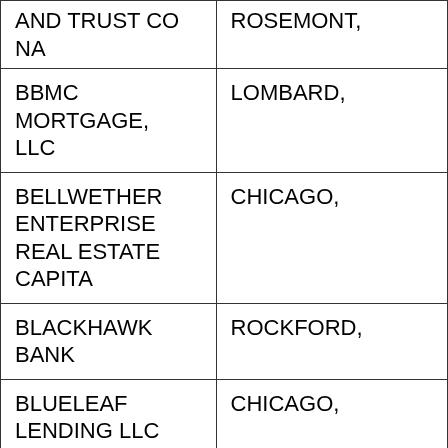| Name | City |
| --- | --- |
| AND TRUST CO NA | ROSEMONT, |
| BBMC MORTGAGE, LLC | LOMBARD, |
| BELLWETHER ENTERPRISE REAL ESTATE CAPITA | CHICAGO, |
| BLACKHAWK BANK | ROCKFORD, |
| BLUELEAF LENDING LLC | CHICAGO, |
| BLUELEAF LENDING | CHICAGO, |